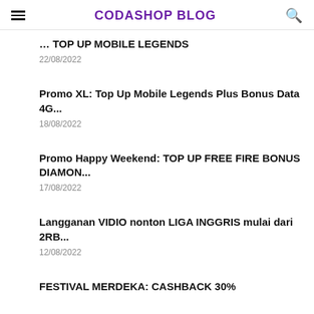CODASHOP BLOG
... TOP UP MOBILE LEGENDS
22/08/2022
Promo XL: Top Up Mobile Legends Plus Bonus Data 4G...
18/08/2022
Promo Happy Weekend: TOP UP FREE FIRE BONUS DIAMON...
17/08/2022
Langganan VIDIO nonton LIGA INGGRIS mulai dari 2RB...
12/08/2022
FESTIVAL MERDEKA: CASHBACK 30%